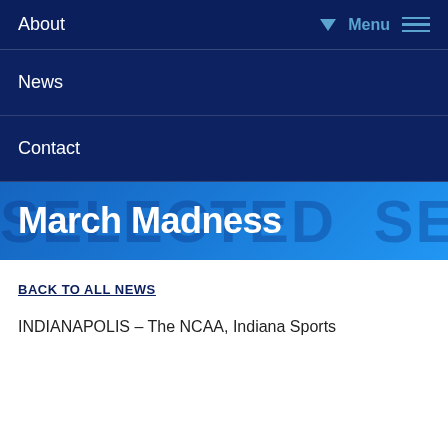About
News
Contact
March Madness
BACK TO ALL NEWS
INDIANAPOLIS – The NCAA, Indiana Sports